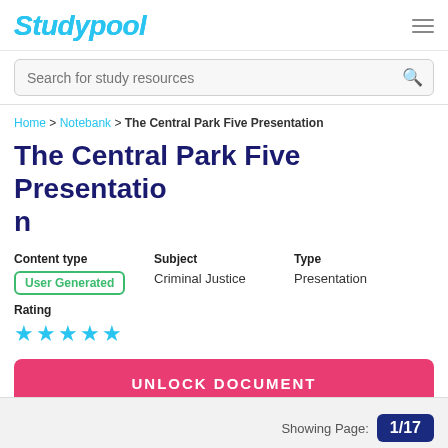Studypool
Search for study resources
Home > Notebank > The Central Park Five Presentation
The Central Park Five Presentation
Content type: User Generated | Subject: Criminal Justice | Type: Presentation
Rating: ★★★★★
UNLOCK DOCUMENT
Showing Page: 1/17